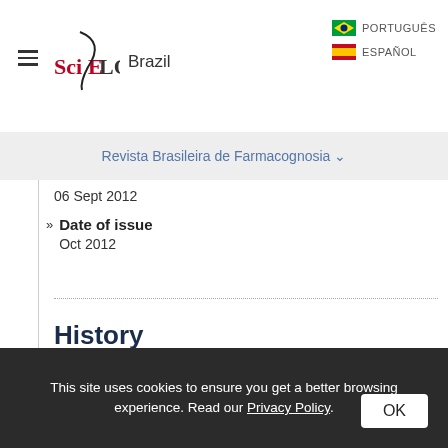SciELO Brazil | PORTUGUÊS | ESPAÑOL
Revista Brasileira de Farmacognosia
06 Sept 2012
Date of issue
Oct 2012
History
Received
21 Nov 2011
Accepted
16 May 2012
This site uses cookies to ensure you get a better browsing experience. Read our Privacy Policy.